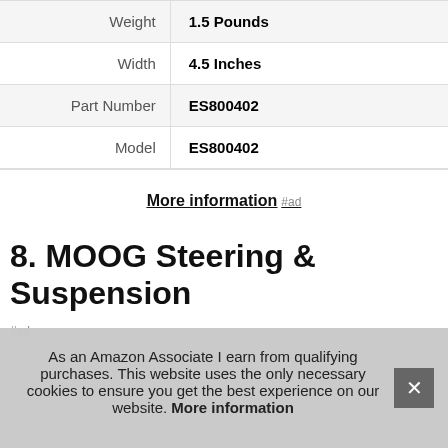| Attribute | Value |
| --- | --- |
| Weight | 1.5 Pounds |
| Width | 4.5 Inches |
| Part Number | ES800402 |
| Model | ES800402 |
More information #ad
8. MOOG Steering & Suspension
#ad
As an Amazon Associate I earn from qualifying purchases. This website uses the only necessary cookies to ensure you get the best experience on our website. More information